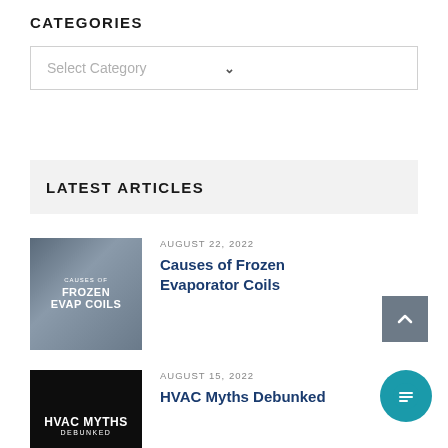CATEGORIES
Select Category
LATEST ARTICLES
[Figure (photo): Thumbnail image showing frozen evaporator coils with text overlay: CAUSES OF FROZEN EVAP COILS]
AUGUST 22, 2022
Causes of Frozen Evaporator Coils
[Figure (photo): Thumbnail image showing HVAC unit with text overlay: HVAC MYTHS DEBUNKED]
AUGUST 15, 2022
HVAC Myths Debunked